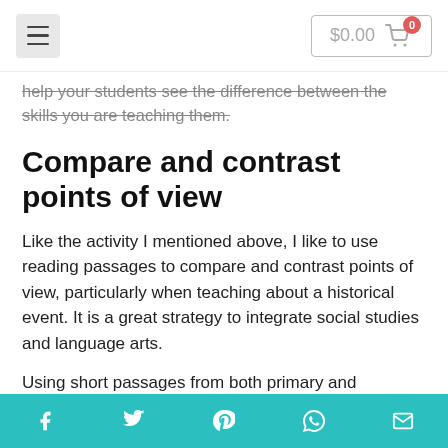$0.00  0
help your students see the difference between the skills you are teaching them.
Compare and contrast points of view
Like the activity I mentioned above, I like to use reading passages to compare and contrast points of view, particularly when teaching about a historical event. It is a great strategy to integrate social studies and language arts.
Using short passages from both primary and secondary sources helps students to see the similarities and differences of those accounts. I
Social share icons: Facebook, Twitter, Pinterest, WhatsApp, Email